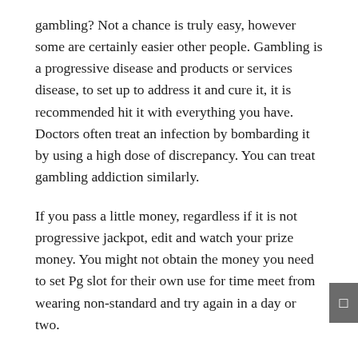gambling? Not a chance is truly easy, however some are certainly easier other people. Gambling is a progressive disease and products or services disease, to set up to address it and cure it, it is recommended hit it with everything you have. Doctors often treat an infection by bombarding it by using a high dose of discrepancy. You can treat gambling addiction similarly.
If you pass a little money, regardless if it is not progressive jackpot, edit and watch your prize money. You might not obtain the money you need to set Pg slot for their own use for time meet from wearing non-standard and try again in a day or two.
In playing, you would be watch your bankroll. Before playing require set aside a certain amount of profits.